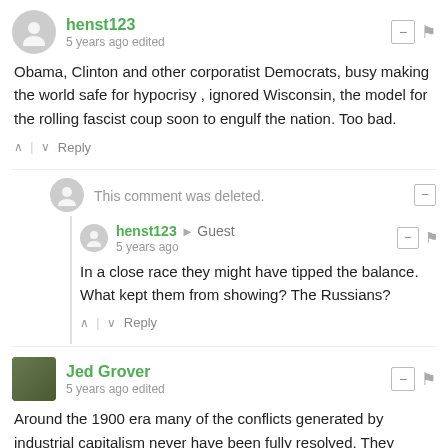henst123 · 5 years ago edited
Obama, Clinton and other corporatist Democrats, busy making the world safe for hypocrisy , ignored Wisconsin, the model for the rolling fascist coup soon to engulf the nation. Too bad.
Reply
This comment was deleted.
henst123 → Guest · 5 years ago
In a close race they might have tipped the balance. What kept them from showing? The Russians?
Reply
Jed Grover · 5 years ago edited
Around the 1900 era many of the conflicts generated by industrial capitalism never have been fully resolved. They include the conflicts between management and labor, the issues related to enormous disparities of wealth, and the role of